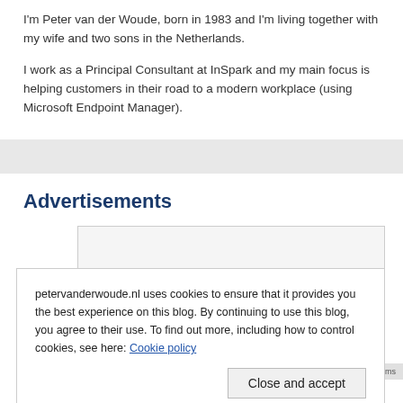I'm Peter van der Woude, born in 1983 and I'm living together with my wife and two sons in the Netherlands.
I work as a Principal Consultant at InSpark and my main focus is helping customers in their road to a modern workplace (using Microsoft Endpoint Manager).
Advertisements
[Figure (other): Advertisement placeholder box (gray bordered rectangle)]
petervanderwoude.nl uses cookies to ensure that it provides you the best experience on this blog. By continuing to use this blog, you agree to their use. To find out more, including how to control cookies, see here: Cookie policy
Close and accept
advertising
Privacy · Terms